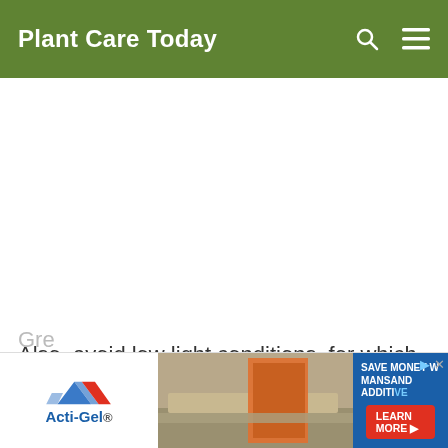Plant Care Today
Also, avoid low light conditions, for which Polly has no tolerance. As with all tropical plants, this plant loves high humid environment.
[Figure (other): Advertisement banner for Acti-Gel product with mountain logo, construction image, and 'SAVE MONEY W... MANSAND ADDITI...' text with LEARN MORE button]
Gre